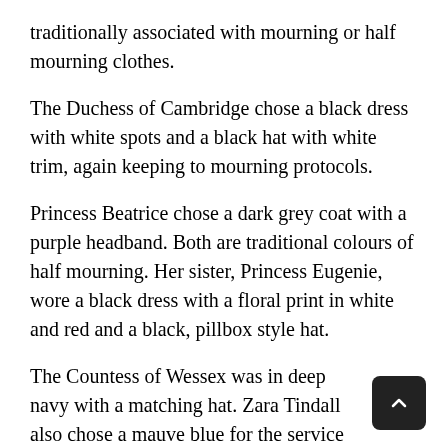traditionally associated with mourning or half mourning clothes.
The Duchess of Cambridge chose a black dress with white spots and a black hat with white trim, again keeping to mourning protocols.
Princess Beatrice chose a dark grey coat with a purple headband. Both are traditional colours of half mourning. Her sister, Princess Eugenie, wore a black dress with a floral print in white and red and a black, pillbox style hat.
The Countess of Wessex was in deep navy with a matching hat. Zara Tindall also chose a mauve blue for the service as did Lady Louise Mountbatten-Windsor.